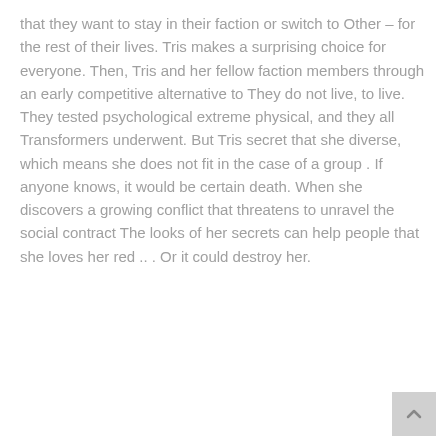that they want to stay in their faction or switch to Other – for the rest of their lives. Tris makes a surprising choice for everyone. Then, Tris and her fellow faction members through an early competitive alternative to They do not live, to live. They tested psychological extreme physical, and they all Transformers underwent. But Tris secret that she diverse, which means she does not fit in the case of a group . If anyone knows, it would be certain death. When she discovers a growing conflict that threatens to unravel the social contract The looks of her secrets can help people that she loves her red .. . Or it could destroy her.